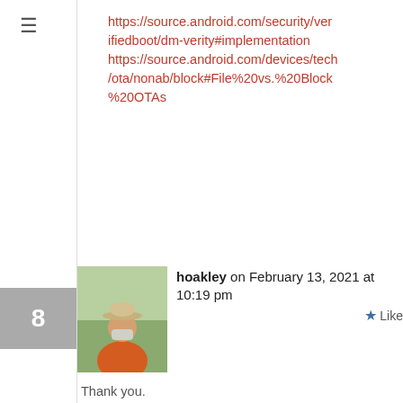https://source.android.com/security/verifiedboot/dm-verity#implementation https://source.android.com/devices/tech/ota/nonab/block#File%20vs.%20Block%20OTAs
hoakley on February 13, 2021 at 10:19 pm
[Figure (photo): Avatar photo of a person wearing a hat and orange jacket, outdoors]
Thank you.
I don't know the Merkle Tree is built: that is something that Apple keeps close to its chest.
However, I can tell you from my own integrity-checking software that checking an existing hash and computing a new one take almost identical times. So the only way that you could save time would be not to